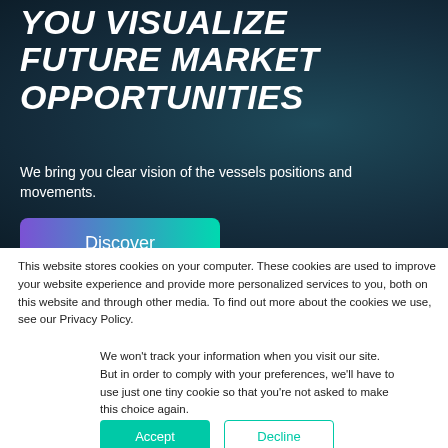YOU VISUALIZE FUTURE MARKET OPPORTUNITIES
We bring you clear vision of the vessels positions and movements.
[Figure (other): Gradient button with label 'Discover', purple to teal gradient background]
This website stores cookies on your computer. These cookies are used to improve your website experience and provide more personalized services to you, both on this website and through other media. To find out more about the cookies we use, see our Privacy Policy.
We won't track your information when you visit our site. But in order to comply with your preferences, we'll have to use just one tiny cookie so that you're not asked to make this choice again.
Accept  Decline